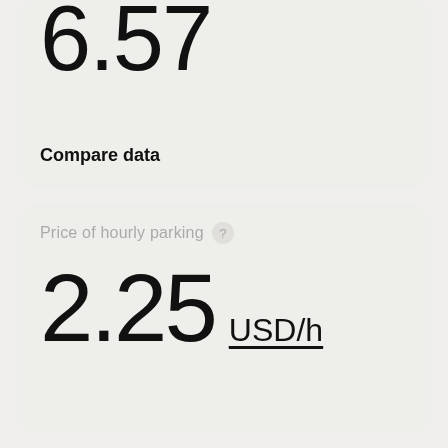6.57
Compare data
Price of hourly parking
2.25 USD/h